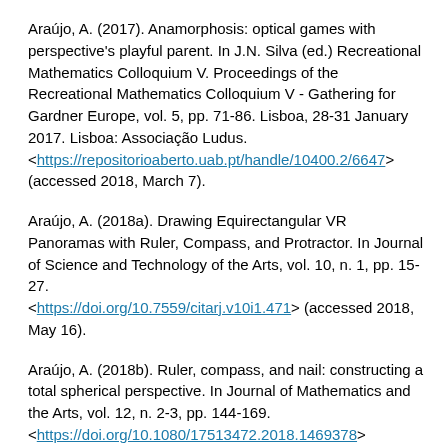Araújo, A. (2017). Anamorphosis: optical games with perspective's playful parent. In J.N. Silva (ed.) Recreational Mathematics Colloquium V. Proceedings of the Recreational Mathematics Colloquium V - Gathering for Gardner Europe, vol. 5, pp. 71-86. Lisboa, 28-31 January 2017. Lisboa: Associação Ludus. <https://repositorioaberto.uab.pt/handle/10400.2/6647> (accessed 2018, March 7).
Araújo, A. (2018a). Drawing Equirectangular VR Panoramas with Ruler, Compass, and Protractor. In Journal of Science and Technology of the Arts, vol. 10, n. 1, pp. 15-27. <https://doi.org/10.7559/citarj.v10i1.471> (accessed 2018, May 16).
Araújo, A. (2018b). Ruler, compass, and nail: constructing a total spherical perspective. In Journal of Mathematics and the Arts, vol. 12, n. 2-3, pp. 144-169. <https://doi.org/10.1080/17513472.2018.1469378> (accessed